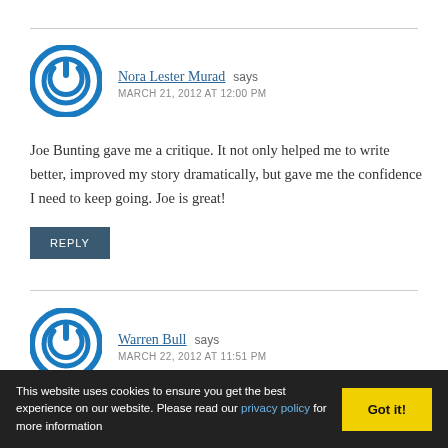Nora Lester Murad says MARCH 21, 2012 AT 12:00 PM
Joe Bunting gave me a critique. It not only helped me to write better, improved my story dramatically, but gave me the confidence I need to keep going. Joe is great!
REPLY
Warren Bull says MARCH 22, 2012 AT 11:51 PM
This website uses cookies to ensure you get the best experience on our website. Please read our privacy policy for more information